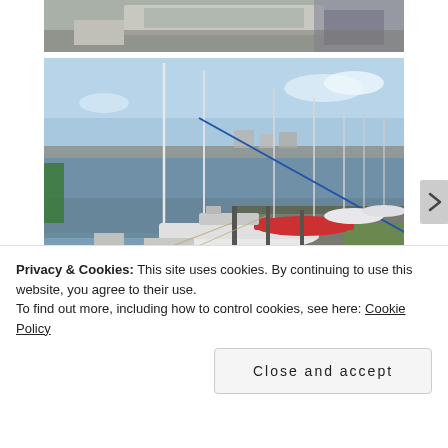[Figure (photo): Partial aerial or overhead photo of a harbor/dock structure, cropped at top]
[Figure (photo): Photo of a marina with multiple sailboats moored along a dock, blue sky and calm water visible]
[Figure (photo): Partial photo partially visible at bottom, appears to show water or harbor scene]
Privacy & Cookies: This site uses cookies. By continuing to use this website, you agree to their use.
To find out more, including how to control cookies, see here: Cookie Policy
Close and accept